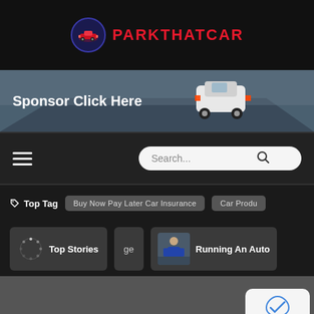[Figure (logo): ParkThatCar logo with red car icon in a blue circle and bold red text PARKTHATCAR]
[Figure (photo): Sponsor banner showing a white SUV on a misty road with text Sponsor Click Here]
[Figure (screenshot): Navigation bar with hamburger menu and search box]
🏷 Top Tag   Buy Now Pay Later Car Insurance   Car Produ
Top Stories   ge   Running An Auto
[Figure (screenshot): Cookie/privacy widget with reCAPTCHA and privacy icons]